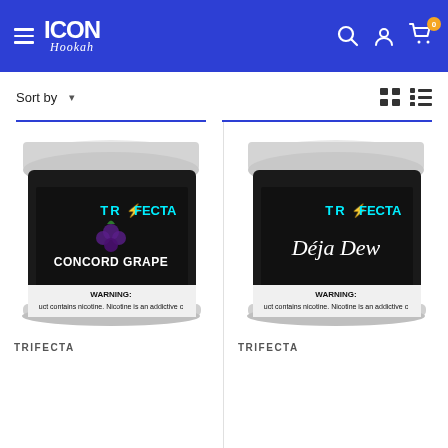[Figure (screenshot): Icon Hookah website header with blue background, hamburger menu, Icon Hookah logo, search icon, account icon, and cart icon with badge showing 0]
Sort by ▾
[Figure (photo): Trifecta hookah tobacco jar with black label - Concord Grape flavor, with warning text about nicotine]
[Figure (photo): Trifecta hookah tobacco jar with black label - Déja Dew flavor, with warning text about nicotine]
TRIFECTA
TRIFECTA